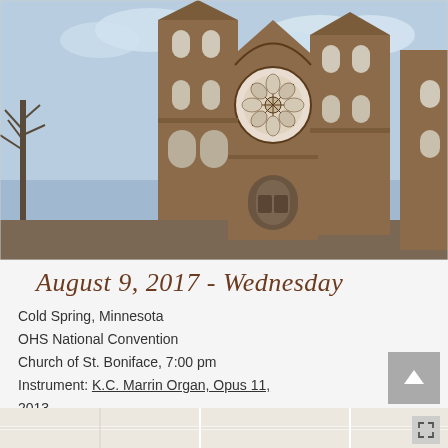[Figure (photo): Exterior photograph of the Church of St. Boniface, a red brick Gothic Revival church with two tall towers and a large rose window above the central entrance. Bare winter trees visible on the sides, blue cloudy sky in the background.]
August 9, 2017 - Wednesday
Cold Spring, Minnesota
OHS National Convention
Church of St. Boniface, 7:00 pm
Instrument: K.C. Marrin Organ, Opus 11, 2013
[Figure (map): Partial map view showing street layout, partially visible at bottom of page with expand icon.]